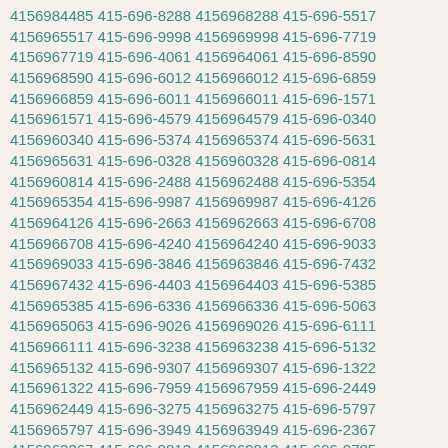4156984485 415-696-8288 4156968288 415-696-5517 4156965517 415-696-9998 4156969998 415-696-7719 4156967719 415-696-4061 4156964061 415-696-8590 4156968590 415-696-6012 4156966012 415-696-6859 4156966859 415-696-6011 4156966011 415-696-1571 4156961571 415-696-4579 4156964579 415-696-0340 4156960340 415-696-5374 4156965374 415-696-5631 4156965631 415-696-0328 4156960328 415-696-0814 4156960814 415-696-2488 4156962488 415-696-5354 4156965354 415-696-9987 4156969987 415-696-4126 4156964126 415-696-2663 4156962663 415-696-6708 4156966708 415-696-4240 4156964240 415-696-9033 4156969033 415-696-3846 4156963846 415-696-7432 4156967432 415-696-4403 4156964403 415-696-5385 4156965385 415-696-6336 4156966336 415-696-5063 4156965063 415-696-9026 4156969026 415-696-6111 4156966111 415-696-3238 4156963238 415-696-5132 4156965132 415-696-9307 4156969307 415-696-1322 4156961322 415-696-7959 4156967959 415-696-2449 4156962449 415-696-3275 4156963275 415-696-5797 4156965797 415-696-3949 4156963949 415-696-2367 4156962367 415-696-9813 4156969813 415-696-0785 4156960785 415-696-0799 4156960799 415-696-0824 4156960824 415-696-9326 4156969326 415-696-3308 4156963308 415-696-5898 4156965898 415-696-2311 4156962311 415-696-1586 4156961586 415-696-1141 4156961141 415-696-9138 4156969138 415-696-7965 4156967965 415-696-7262 4156967262 415-696-4515 4156964515 415-696-5057 4156965057 415-696-8899 4156968899 415-696-5112 4156965112 415-696-2853 4156962853 415-696-4574 4156964574 415-696-6917 4156966917 415-696-5249 4156965249 415-696-3719 4156963719 415-696-7041 4156967041 415-696-3964 4156963964 415-696-1453 4156961453 415-